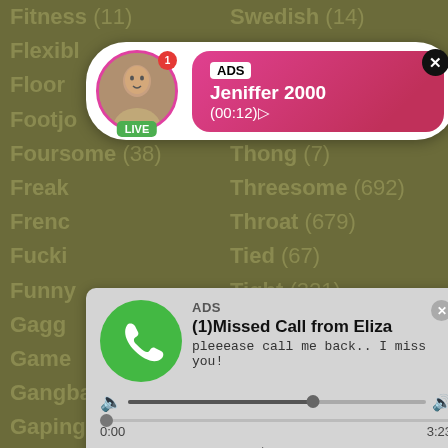Fitness (11)
Swedish (14)
Flexible
Floor
Footjo
Foursome (38)
Taboo (155)
Freak
Fren
Fucki
Funny
Gagg
Game
Gangbang (267)
Tgirl (31)
Gaping (163)
Thai (62)
Gay (127)
Thong (7)
German (741)
Threesome (692)
Ghetto (8)
Throat (679)
Giant (29)
Tied (67)
Girl (2055)
Tight (321)
[Figure (screenshot): Ad popup showing a live video feed of Jeniffer 2000 with LIVE badge and ADS label, pink gradient background, timer (00:12), close button]
[Figure (screenshot): Ad popup showing a missed call notification from Eliza with audio player controls, message 'pleeease call me back.. I miss you!']